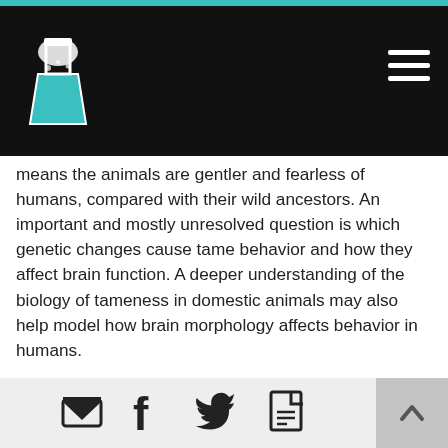Science website header with logo and navigation
means the animals are gentler and fearless of humans, compared with their wild ancestors. An important and mostly unresolved question is which genetic changes cause tame behavior and how they affect brain function. A deeper understanding of the biology of tameness in domestic animals may also help model how brain morphology affects behavior in humans.
Expanding on a previous study, in which we had found that the DNA of wild and domestic rabbits differ mostly in genes that play a role during brain development, we have now used high-resolution magnetic resonance imaging (MRI) to show that wild and domestic rabbits' brains differ in
Footer with social share icons: email, facebook, twitter, pdf